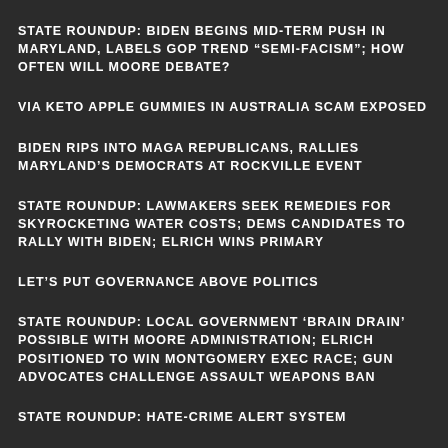STATE ROUNDUP: BIDEN BEGINS MID-TERM PUSH IN MARYLAND, LABELS GOP TREND “SEMI-FACISM”; HOW OFTEN WILL MOORE DEBATE?
VIA KETO APPLE GUMMIES IN AUSTRALIA SCAM EXPOSED
BIDEN RIPS INTO MAGA REPUBLICANS, RALLIES MARYLAND’S DEMOCRATS AT ROCKVILLE EVENT
STATE ROUNDUP: LAWMAKERS SEEK REMEDIES FOR SKYROCKETING WATER COSTS; DEMS CANDIDATES TO RALLY WITH BIDEN; ELRICH WINS PRIMARY
LET’S PUT GOVERNANCE ABOVE POLITICS
STATE ROUNDUP: LOCAL GOVERNMENT ‘BRAIN DRAIN’ POSSIBLE WITH MOORE ADMINISTRATION; ELRICH POSITIONED TO WIN MONTGOMERY EXEC RACE; GUN ADVOCATES CHALLENGE ASSAULT WEAPONS BAN
STATE ROUNDUP: HATE-CRIME ALERT SYSTEM